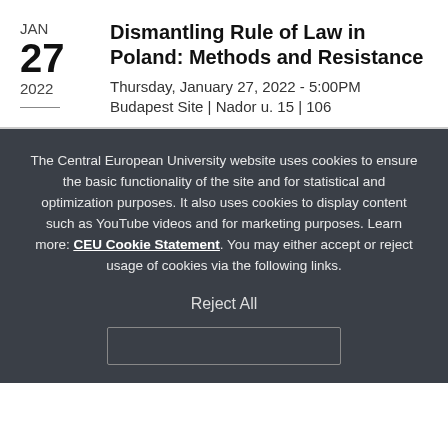Dismantling Rule of Law in Poland: Methods and Resistance
Thursday, January 27, 2022 - 5:00PM
Budapest Site | Nador u. 15 | 106
The Central European University website uses cookies to ensure the basic functionality of the site and for statistical and optimization purposes. It also uses cookies to display content such as YouTube videos and for marketing purposes. Learn more: CEU Cookie Statement. You may either accept or reject usage of cookies via the following links.
Reject All